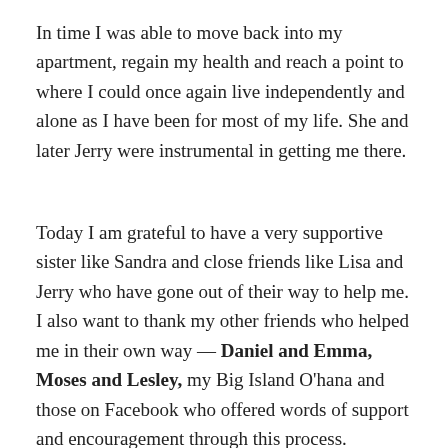In time I was able to move back into my apartment, regain my health and reach a point to where I could once again live independently and alone as I have been for most of my life. She and later Jerry were instrumental in getting me there.
Today I am grateful to have a very supportive sister like Sandra and close friends like Lisa and Jerry who have gone out of their way to help me. I also want to thank my other friends who helped me in their own way — Daniel and Emma, Moses and Lesley, my Big Island O'hana and those on Facebook who offered words of support and encouragement through this process.